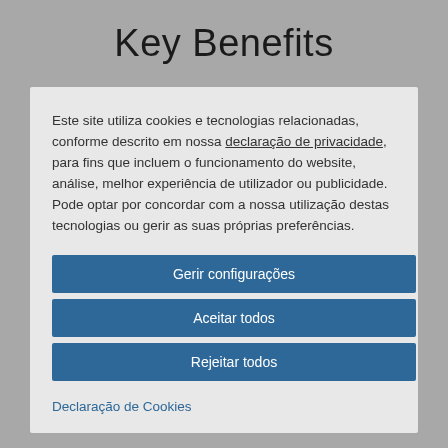Key Benefits
Este site utiliza cookies e tecnologias relacionadas, conforme descrito em nossa declaração de privacidade, para fins que incluem o funcionamento do website, análise, melhor experiência de utilizador ou publicidade. Pode optar por concordar com a nossa utilização destas tecnologias ou gerir as suas próprias preferências.
Gerir configurações
Aceitar todos
Rejeitar todos
Declaração de Cookies